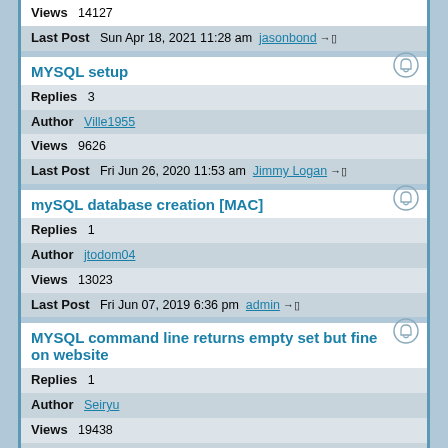Views  14127
Last Post  Sun Apr 18, 2021 11:28 am  jasonbond →□
MYSQL setup
Replies  3
Author  Ville1955
Views  9626
Last Post  Fri Jun 26, 2020 11:53 am  Jimmy Logan →□
mySQL database creation [MAC]
Replies  1
Author  jtodom04
Views  13023
Last Post  Fri Jun 07, 2019 6:36 pm  admin →□
MYSQL command line returns empty set but fine on website
Replies  1
Author  Seiryu
Views  19438
Last Post  Wed Jun 01, 2016 5:58 pm  admin →□